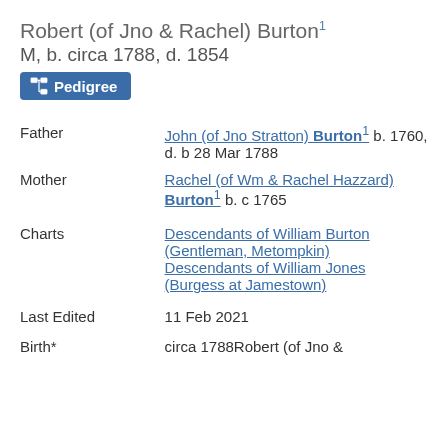Robert (of Jno & Rachel) Burton¹ M, b. circa 1788, d. 1854
Pedigree
| Field | Date | Value |
| --- | --- | --- |
| Father |  | John (of Jno Stratton) Burton¹ b. 1760, d. b 28 Mar 1788 |
| Mother |  | Rachel (of Wm & Rachel Hazzard) Burton¹ b. c 1765 |
| Charts |  | Descendants of William Burton (Gentleman, Metompkin) Descendants of William Jones (Burgess at Jamestown) |
| Last Edited |  | 11 Feb 2021 |
| Birth* | circa 1788 | Robert (of Jno & |